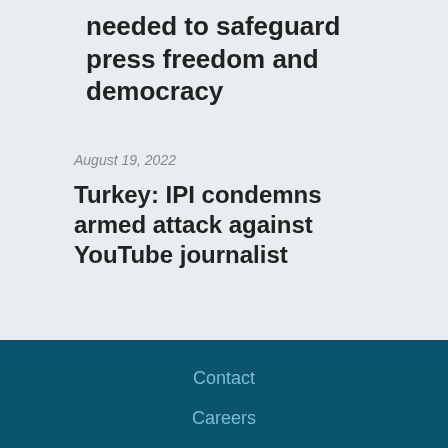needed to safeguard press freedom and democracy
August 19, 2022
Turkey: IPI condemns armed attack against YouTube journalist
Contact
Careers